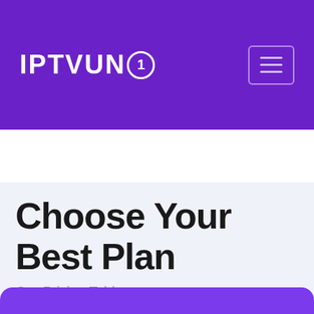IPTVUNO
Choose Your Best Plan
Our Pricing Tables